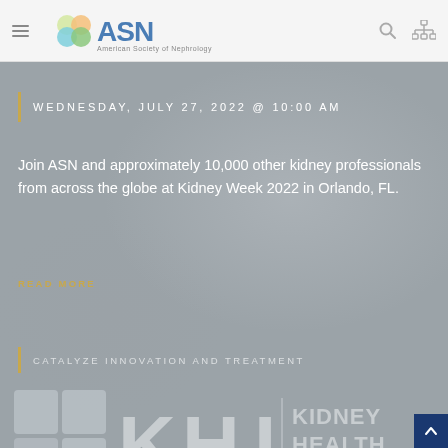ASN — American Society of Nephrology
WEDNESDAY, JULY 27, 2022 @ 10:00 AM
Join ASN and approximately 10,000 other kidney professionals from across the globe at Kidney Week 2022 in Orlando, FL.
READ MORE
CATALYZE INNOVATION AND TREATMENT
[Figure (logo): KHI — Kidney Health Initiative logo with grid icon on dark background]